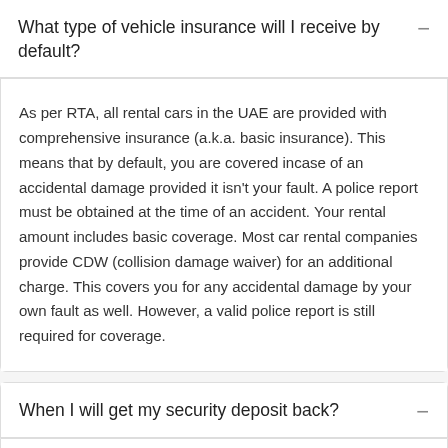What type of vehicle insurance will I receive by default?
As per RTA, all rental cars in the UAE are provided with comprehensive insurance (a.k.a. basic insurance). This means that by default, you are covered incase of an accidental damage provided it isn't your fault. A police report must be obtained at the time of an accident. Your rental amount includes basic coverage. Most car rental companies provide CDW (collision damage waiver) for an additional charge. This covers you for any accidental damage by your own fault as well. However, a valid police report is still required for coverage.
When I will get my security deposit back?
The car rental security deposit between AED 1000 - AED 10,000 is taken at the start of rental. It is released max 30 days after the rental...